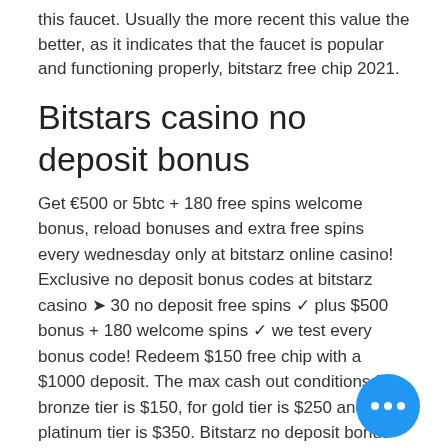this faucet. Usually the more recent this value the better, as it indicates that the faucet is popular and functioning properly, bitstarz free chip 2021.
Bitstars casino no deposit bonus
Get €500 or 5btc + 180 free spins welcome bonus, reload bonuses and extra free spins every wednesday only at bitstarz online casino! Exclusive no deposit bonus codes at bitstarz casino ➤ 30 no deposit free spins ✓ plus $500 bonus + 180 welcome spins ✓ we test every bonus code! Redeem $150 free chip with a $1000 deposit. The max cash out conditions for bronze tier is $150, for gold tier is $250 and for platinum tier is $350. Bitstarz no deposit bonus code. This casino does not currently have a no deposit free chips bonus, check back soon as bonus codes are always changing. Bonus codes 2020,
[Figure (other): Blue circular floating action button with three white dots (ellipsis/more options icon) in the bottom right corner]